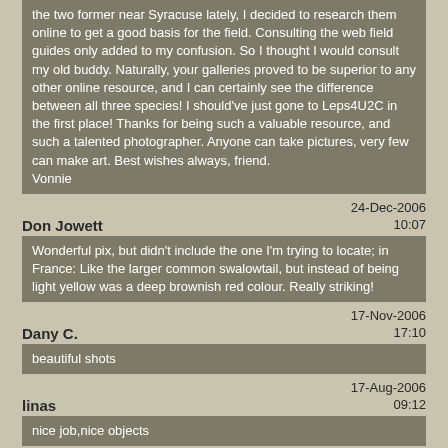the two former near Syracuse lately, I decided to research them online to get a good basis for the field. Consulting the web field guides only added to my confusion. So I thought I would consult my old buddy. Naturally, your galleries proved to be superior to any other online resource, and I can certainly see the difference between all three species! I should've just gone to Leps4U2C in the first place! Thanks for being such a valuable resource, and such a talented photographer. Anyone can take pictures, very few can make art. Best wishes always, friend.
Vonnie
Don Jowett
24-Dec-2006
10:07
Wonderful pix, but didn't include the one I'm trying to locate; in France: Like the larger common swalowtail, but instead of being light yellow was a deep brownish red colour. Really striking!
Dany C.
17-Nov-2006
17:10
beautiful shots
linas
17-Aug-2006
09:12
nice job,nice objects
Andria
07-Dec-2004
01:09
these pictures are fantastic. I am using them to study for entomology!!!